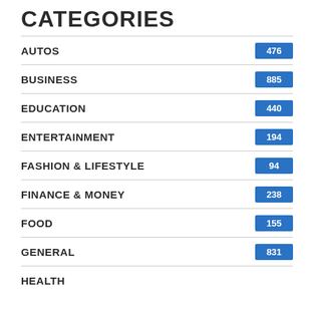CATEGORIES
AUTOS 476
BUSINESS 885
EDUCATION 440
ENTERTAINMENT 194
FASHION & LIFESTYLE 94
FINANCE & MONEY 238
FOOD 155
GENERAL 831
HEALTH ...